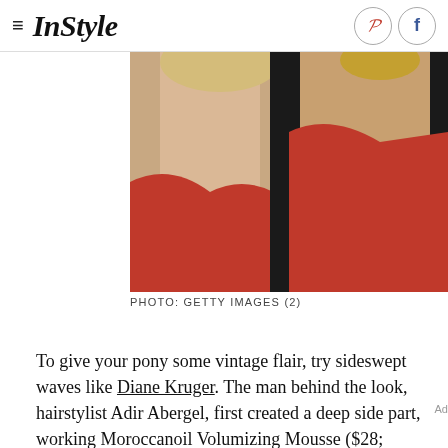InStyle
[Figure (photo): Two women with upswept hairstyles wearing red dresses, side-by-side photo]
PHOTO: GETTY IMAGES (2)
To give your pony some vintage flair, try sideswept waves like Diane Kruger. The man behind the look, hairstylist Adir Abergel, first created a deep side part, working Moroccanoil Volumizing Mousse ($28; moroccanoil.com) from roots to tips. After rough drying, he grabbed a ½ curling iron and curled the star's strands in small sections all over. "Once cooled, I brushed the hair smooth with Moroccanoil Boar Bristle Classic Brush